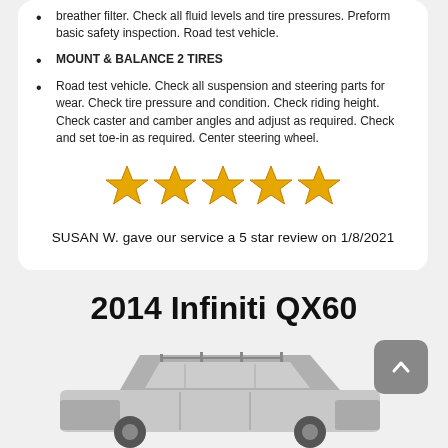breather filter. Check all fluid levels and tire pressures. Preform basic safety inspection. Road test vehicle.
MOUNT & BALANCE 2 TIRES
Road test vehicle. Check all suspension and steering parts for wear. Check tire pressure and condition. Check riding height. Check caster and camber angles and adjust as required. Check and set toe-in as required. Center steering wheel.
[Figure (illustration): Five gold/yellow stars rating display]
SUSAN W. gave our service a 5 star review on 1/8/2021
2014 Infiniti QX60
[Figure (photo): Partial front view of a silver/grey 2014 Infiniti QX60 SUV, grayscale. A grey rounded-rectangle scroll-to-top button with an upward chevron is overlaid at top right.]